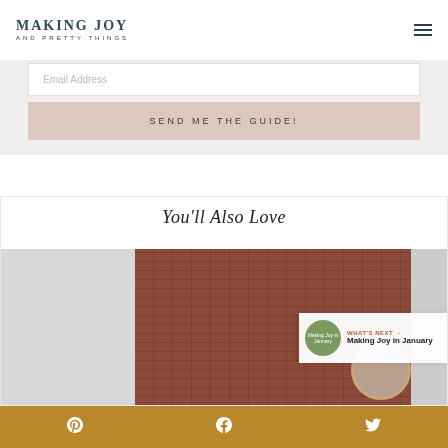MAKING JOY AND PRETTY THINGS
Email Address
SEND ME THE GUIDE!
You'll Also Love
[Figure (photo): Interior room photo showing a white door on the left, a brick wall in the center, and a circular mirror with gold frame on the right]
WHAT'S NEXT → Making Joy in January